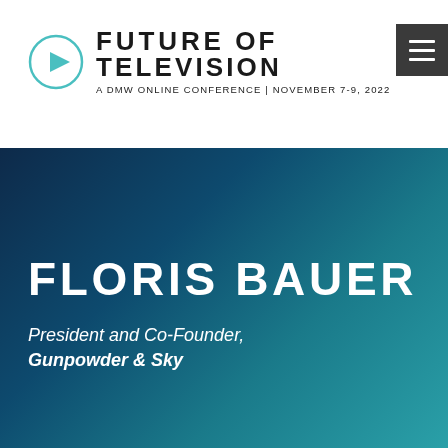[Figure (logo): Future of Television conference logo with teal play button circle, bold title 'FUTURE OF TELEVISION', subtitle 'A DMW ONLINE CONFERENCE | NOVEMBER 7-9, 2022', and a dark hamburger menu icon on the right]
FLORIS BAUER
President and Co-Founder, Gunpowder & Sky